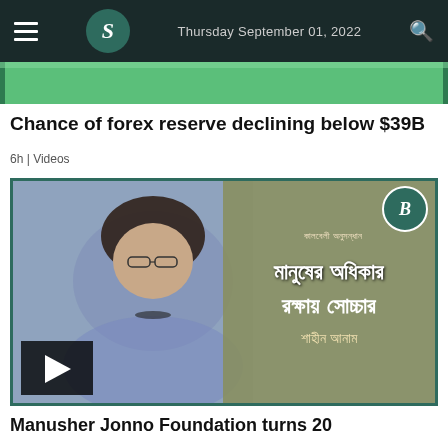Thursday September 01, 2022
[Figure (photo): Partial green-tinted image strip at top of page beneath header]
Chance of forex reserve declining below $39B
6h | Videos
[Figure (photo): Video thumbnail showing a woman in blue sari on the left and Bengali text overlay on right reading the title with Manusher Jonno Foundation branding; play button visible at bottom left]
Manusher Jonno Foundation turns 20